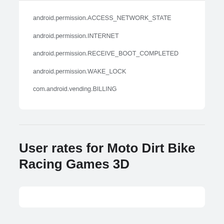android.permission.ACCESS_NETWORK_STATE
android.permission.INTERNET
android.permission.RECEIVE_BOOT_COMPLETED
android.permission.WAKE_LOCK
com.android.vending.BILLING
User rates for Moto Dirt Bike Racing Games 3D